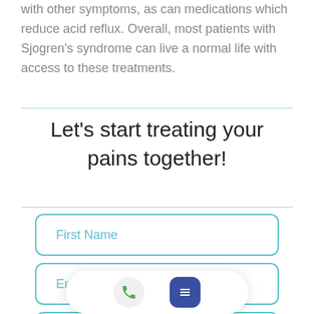with other symptoms, as can medications which reduce acid reflux. Overall, most patients with Sjogren's syndrome can live a normal life with access to these treatments.
Let's start treating your pains together!
First Name
Email
Last